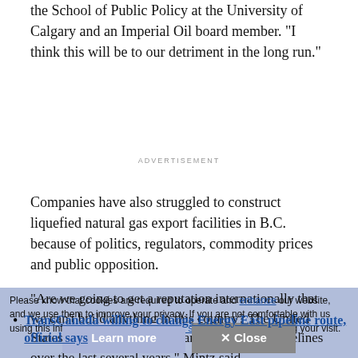the School of Public Policy at the University of Calgary and an Imperial Oil board member. "I think this will be to our detriment in the long run."
ADVERTISEMENT
Companies have also struggled to construct liquefied natural gas export facilities in B.C. because of politics, regulators, commodity prices and public opposition.
"Are we going to get a reputation internationally that we can't build anything in this country? The United States has been laying thousands of miles of pipelines over the last several years," Mintz said.
Please know that cookies are required to operate and enhance our website, and we use them to improve your privacy. If you are not comfortable with us using this information, please review your settings before continuing your visit.
TransCanada willing to change Energy East pipeline route, official says